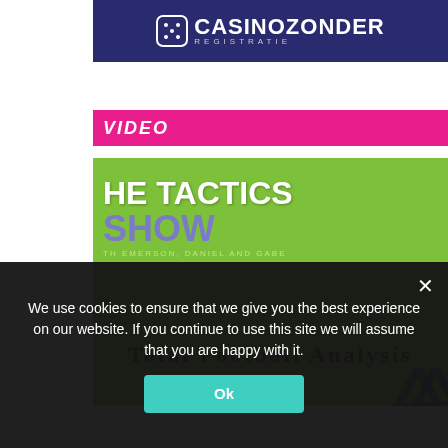[Figure (logo): CasinoZonder Registratie logo — white dice icon and white text on dark navy blue background]
VIDEO
[Figure (screenshot): The Tactics Show with Emerson, Daniel and Gabe — Total Football Analysis. Green background with white bold title text, purple 'SHOW' text, and decorative navy chevrons in bottom-right corner.]
We use cookies to ensure that we give you the best experience on our website. If you continue to use this site we will assume that you are happy with it.
Ok